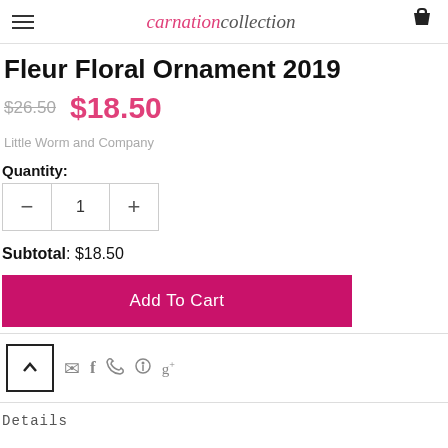carnationcollection
Fleur Floral Ornament 2019
$26.50  $18.50
Little Worm and Company
Quantity:
- 1 +
Subtotal: $18.50
Add To Cart
Details